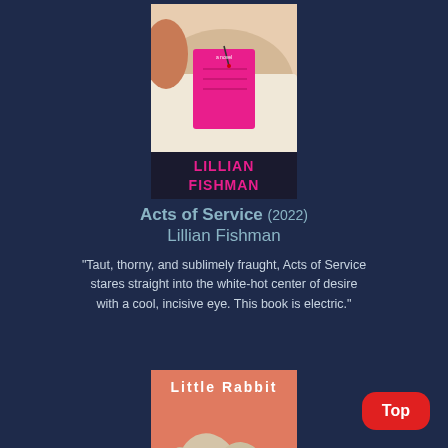[Figure (illustration): Book cover of 'Acts of Service' by Lillian Fishman. Features a person lying down wearing white, with a bright magenta/pink notebook on their chest. The author name 'LILLIAN FISHMAN' appears in bold pink text at the bottom of the cover.]
Acts of Service (2022)
Lillian Fishman
"Taut, thorny, and sublimely fraught, Acts of Service stares straight into the white-hot center of desire with a cool, incisive eye. This book is electric."
[Figure (illustration): Book cover of 'Little Rabbit'. Salmon/coral background with the title 'Little Rabbit' in white text at the top. Center features a surreal sculptural illustration of two face-like forms pressed together with a thread/string connecting them. 'A NOVEL' appears at the bottom.]
Top